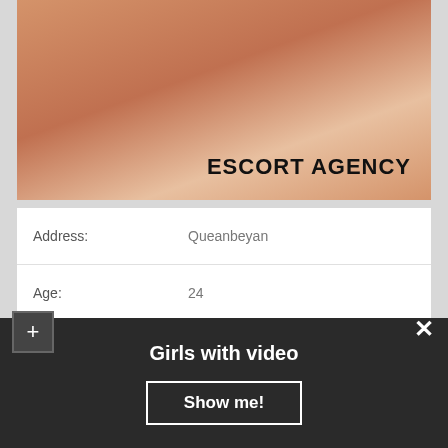[Figure (photo): Photo with overlay text ESCORT AGENCY]
| Address: | Queanbeyan |
| Age: | 24 |
| Height: | 172 |
| WEIGHT: | 62 kg |
| Availability: | 10:00 – 23:00 |
| Dinner Date: | No |
| Services: | Toys / Dildos, Games, Anal |
Girls with video
Show me!